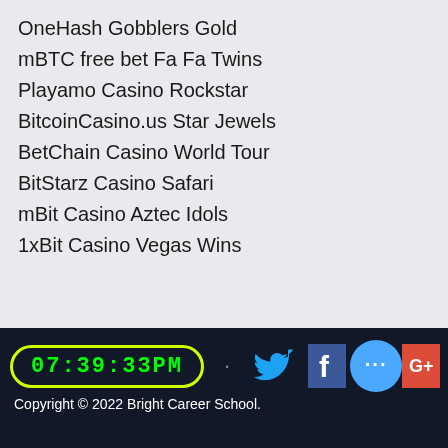OneHash Gobblers Gold
mBTC free bet Fa Fa Twins
Playamo Casino Rockstar
BitcoinCasino.us Star Jewels
BetChain Casino World Tour
BitStarz Casino Safari
mBit Casino Aztec Idols
1xBit Casino Vegas Wins
https://www.abiblog.org/profile/lynwoodket11891784/profile
https://www.7doorsin.com/profile/lilyrocca13095426/profile
https://www.art-inc.org/profile/kimigheza6623659/profile
https://www.moxiehound.com/profile/kendallrastetter13829082/profile
07:39:33PM  Copyright © 2022 Bright Career School.